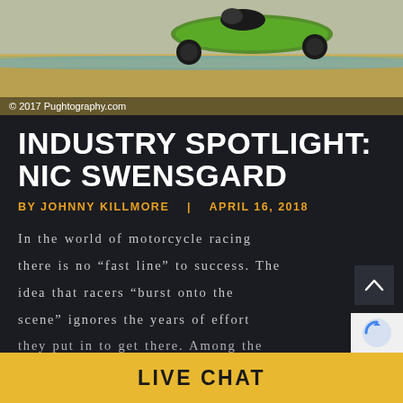[Figure (photo): Motorcycle racing on a track, green motorcycle leaning into a curve, racetrack with sandy/dusty surroundings. Copyright watermark: © 2017 Pughtography.com]
INDUSTRY SPOTLIGHT: NIC SWENSGARD
BY JOHNNY KILLMORE   |   APRIL 16, 2018
In the world of motorcycle racing there is no “fast line” to success. The idea that racers “burst onto the scene” ignores the years of effort they put in to get there. Among the
LIVE CHAT